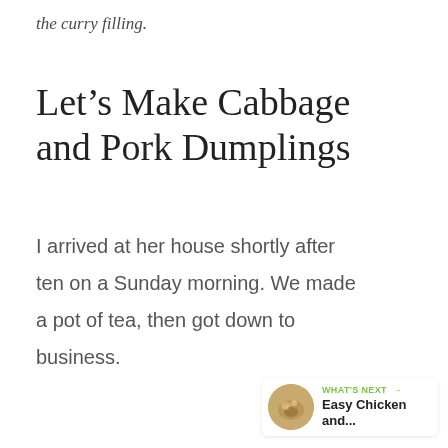the curry filling.
Let’s Make Cabbage and Pork Dumplings
I arrived at her house shortly after ten on a Sunday morning. We made a pot of tea, then got down to business.
[Figure (other): Green circular heart/favourite button and white circular share button on right side]
[Figure (other): What’s Next widget showing Easy Chicken and... with thumbnail image]